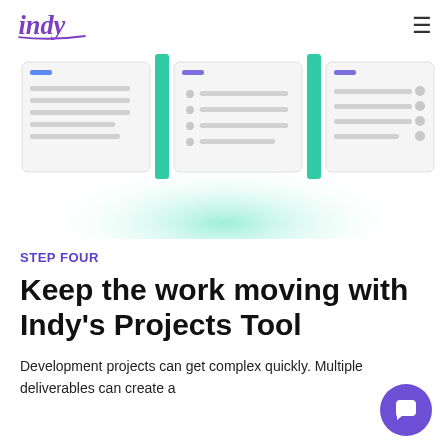indy
[Figure (screenshot): UI illustration showing three Kanban-style project board columns with teal accent bars and checklist items, with a green radial glow beneath.]
STEP FOUR
Keep the work moving with Indy's Projects Tool
Development projects can get complex quickly. Multiple deliverables can create a